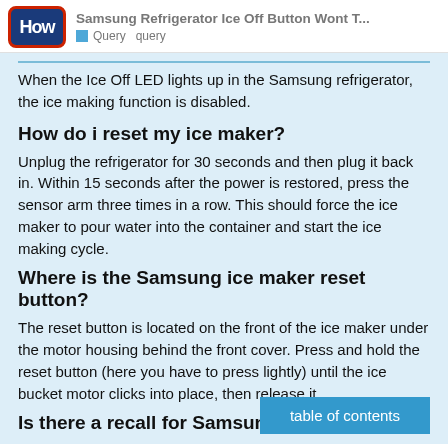Samsung Refrigerator Ice Off Button Wont T... Query query
When the Ice Off LED lights up in the Samsung refrigerator, the ice making function is disabled.
How do i reset my ice maker?
Unplug the refrigerator for 30 seconds and then plug it back in. Within 15 seconds after the power is restored, press the sensor arm three times in a row. This should force the ice maker to pour water into the container and start the ice making cycle.
Where is the Samsung ice maker reset button?
The reset button is located on the front of the ice maker under the motor housing behind the front cover. Press and hold the reset button (here you have to press lightly) until the ice bucket motor clicks into place, then release it.
Is there a recall for Samsung Fridge